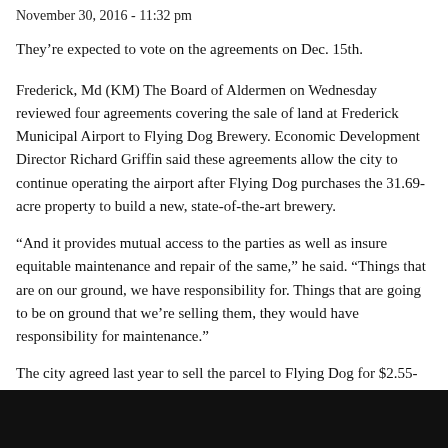November 30, 2016 - 11:32 pm
They’re expected to vote on the agreements on Dec. 15th.
Frederick, Md (KM) The Board of Aldermen on Wednesday reviewed four agreements covering the sale of land at Frederick Municipal Airport to Flying Dog Brewery. Economic Development Director Richard Griffin said these agreements allow the city to continue operating the airport after Flying Dog purchases the 31.69-acre property to build a new, state-of-the-art brewery.
“And it provides mutual access to the parties as well as insure equitable maintenance and repair of the same,” he said. “Things that are on our ground, we have responsibility for. Things that are going to be on ground that we’re selling them, they would have responsibility for maintenance.”
The city agreed last year to sell the parcel to Flying Dog for $2.55-million. The company plans to construct a $40-million, 150,000-square-foot facility for its state-of-the-art brewery, and a Farm Brewery.